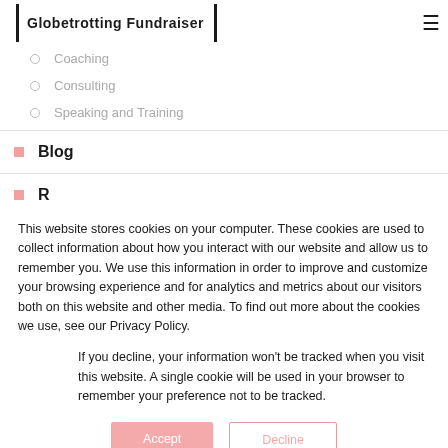Globetrotting Fundraiser
Coaching
Consulting
Speaking and Training
Blog
This website stores cookies on your computer. These cookies are used to collect information about how you interact with our website and allow us to remember you. We use this information in order to improve and customize your browsing experience and for analytics and metrics about our visitors both on this website and other media. To find out more about the cookies we use, see our Privacy Policy.
If you decline, your information won't be tracked when you visit this website. A single cookie will be used in your browser to remember your preference not to be tracked.
Accept
Decline